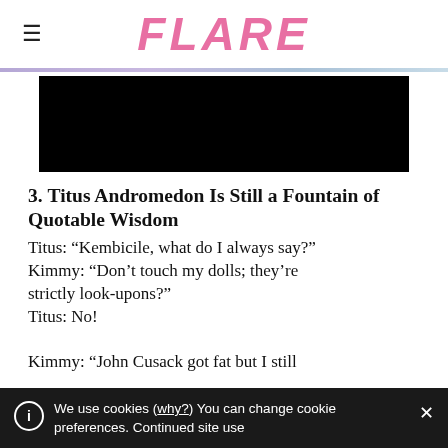FLARE
[Figure (photo): Black rectangular image area (content obscured/dark)]
3. Titus Andromedon Is Still a Fountain of Quotable Wisdom
Titus: “Kembicile, what do I always say?”
Kimmy: “Don’t touch my dolls; they’re strictly look-upons?”
Titus: No!
Kimmy: “John Cusack got fat but I still
We use cookies (why?) You can change cookie preferences. Continued site use